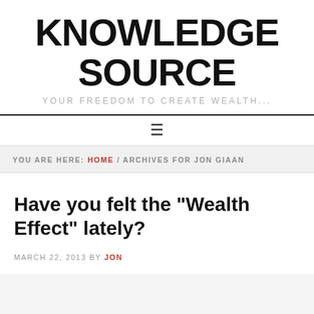KNOWLEDGE SOURCE
YOUR FREEDOM TO CREATE WEALTH...
≡
YOU ARE HERE: HOME / ARCHIVES FOR JON GIAAN
Have you felt the "Wealth Effect" lately?
MARCH 22, 2013 BY JON